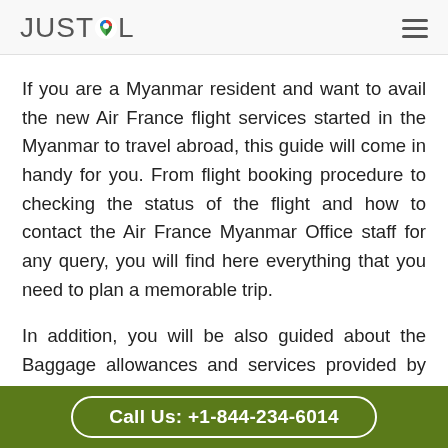JUSTCOL
If you are a Myanmar resident and want to avail the new Air France flight services started in the Myanmar to travel abroad, this guide will come in handy for you. From flight booking procedure to checking the status of the flight and how to contact the Air France Myanmar Office staff for any query, you will find here everything that you need to plan a memorable trip.
In addition, you will be also guided about the Baggage allowances and services provided by Air France. So that you are aware of what all
Call Us: +1-844-234-6014